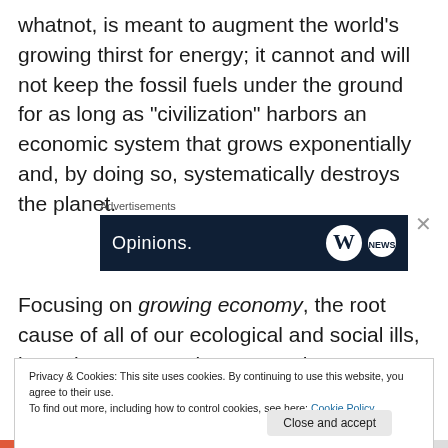whatnot, is meant to augment the world's growing thirst for energy; it cannot and will not keep the fossil fuels under the ground for as long as “civilization” harbors an economic system that grows exponentially and, by doing so, systematically destroys the planet.
Advertisements
[Figure (screenshot): Dark navy banner ad showing 'Opinions.' text in white with WordPress logo and another circular logo on the right, partially cut off at the bottom]
Focusing on growing economy, the root cause of all of our ecological and social ills, is not just an egregious example
Privacy & Cookies: This site uses cookies. By continuing to use this website, you agree to their use.
To find out more, including how to control cookies, see here: Cookie Policy
Close and accept